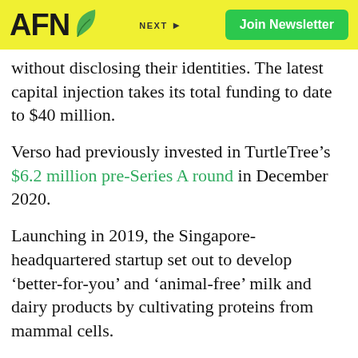AFN | NEXT + | Join Newsletter
without disclosing their identities. The latest capital injection takes its total funding to date to $40 million.
Verso had previously invested in TurtleTree's $6.2 million pre-Series A round in December 2020.
Launching in 2019, the Singapore-headquartered startup set out to develop ‘better-for-you’ and ‘animal-free’ milk and dairy products by cultivating proteins from mammal cells.
Its initial focus was on recreating human milk in the lab, to offer mothers more sustainable breastmilk or formula replacements, as well as ‘growing-up’